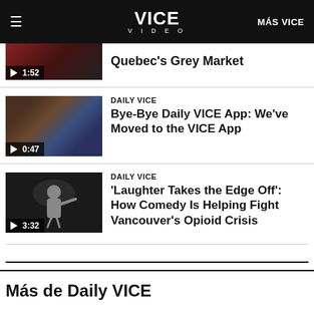VICE VIDEO | MÁS VICE
Quebec's Grey Market
[Figure (screenshot): Video thumbnail showing phone with timestamp 0:47]
DAILY VICE
Bye-Bye Daily VICE App: We've Moved to the VICE App
[Figure (screenshot): Video thumbnail of comedian on stage with timestamp 3:32]
DAILY VICE
'Laughter Takes the Edge Off': How Comedy Is Helping Fight Vancouver's Opioid Crisis
Más de Daily VICE